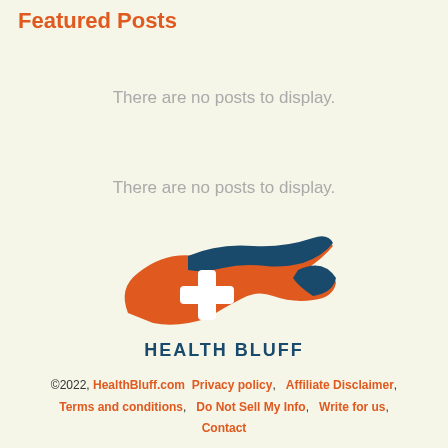Featured Posts
There are no posts to display.
There are no posts to display.
[Figure (logo): Health Bluff logo: a duck/bird shape with orange and dark blue colors, white medical cross in the center, with text HEALTH BLUFF below]
©2022, HealthBluff.com  Privacy policy,   Affiliate Disclaimer,  Terms and conditions,   Do Not Sell My Info,    Write for us,  Contact